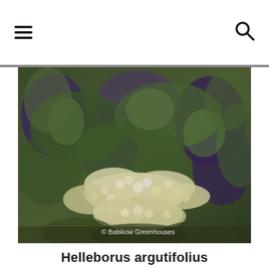Navigation menu and search icons
[Figure (photo): Dense cluster of Helleborus argutifolius (Corsican Hellebore) plants with dark green and purple-tinged leaves and clusters of small cream-white flowers. Watermark reads '© Babikow Greenhouses'.]
Helleborus argutifolius
Corsican Hellebore